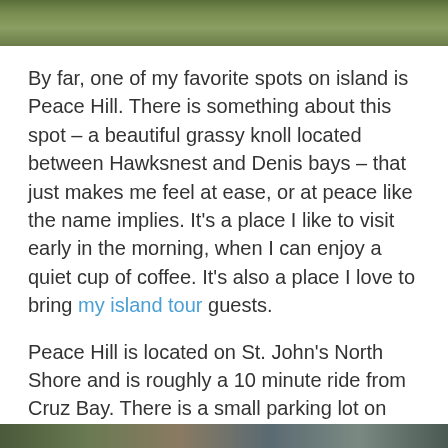[Figure (photo): Top portion of a landscape photo showing green vegetation, partially cropped at the top of the page]
By far, one of my favorite spots on island is Peace Hill. There is something about this spot – a beautiful grassy knoll located between Hawksnest and Denis bays – that just makes me feel at ease, or at peace like the name implies. It's a place I like to visit early in the morning, when I can enjoy a quiet cup of coffee. It's also a place I love to bring my island tour guests.
Peace Hill is located on St. John's North Shore and is roughly a 10 minute ride from Cruz Bay. There is a small parking lot on your left hand side (if coming from Cruz Bay), which is located past the Oppenheimer gate. If you've reached Jumbie, you've gone too far.
[Figure (photo): Bottom portion of a landscape photo, partially cropped at the bottom of the page]